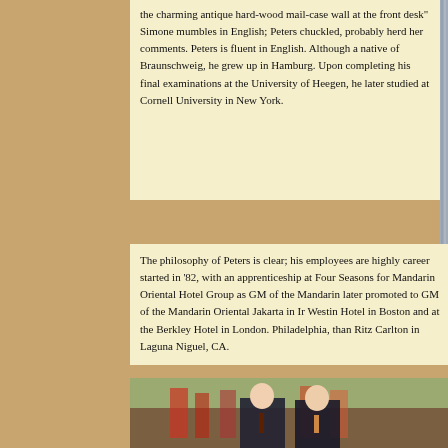the charming antique hard-wood mail-case wall at the front desk" Simone mumbles in English; Peters chuckled, probably herd her comments. Peters is fluent in English. Although a native of Braunschweig, he grew up in Hamburg. Upon completing his final examinations at the University of Heegen, he later studied at Cornell University in New York.
[Figure (photo): Partial photo visible on right side, appears to be a person or interior]
The philosophy of Peters is clear; his employees are highly career started in '82, with an apprenticeship at Four Seasons for Mandarin Oriental Hotel Group as GM of the Mandarin later promoted to GM of the Mandarin Oriental Jakarta in Ir Westin Hotel in Boston and at the Berkley Hotel in London. Philadelphia, than Ritz Carlton in Laguna Niguel, CA.
[Figure (photo): Two men in dark suits standing in front of a large classical painting depicting a battle or historical scene with soldiers and horses]